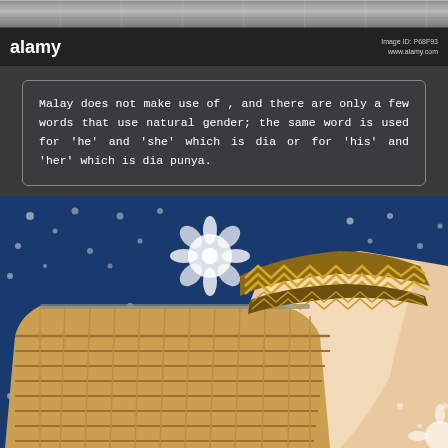[Figure (photo): Top strip showing a grayscale/silver textured image strip across the top of the page]
alamy
Image ID: P68F93
www.alamy.com
Malay does not make use of , and there are only a few words that use natural gender; the same word is used for 'he' and 'she' which is dia or for 'his' and 'her' which is dia punya.
[Figure (photo): Close-up photograph of a woman's wrist wearing multiple bangles/bracelets including a zigzag patterned bracelet and a woven straw/rattan clutch bag, set against a blue and white floral/batik patterned fabric background]